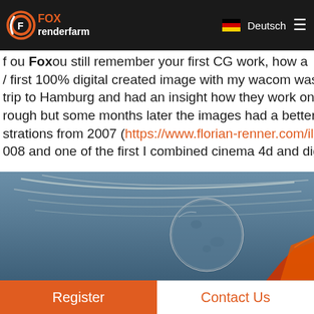[Figure (logo): Fox Renderfarm logo with orange circular icon and text, navigation bar with German flag Deutsch label and hamburger menu]
f ou still remember your first CG work, how a / first 100% digital created image with my wacom was fo trip to Hamburg and had an insight how they work on the rough but some months later the images had a better quo strations from 2007 (https://www.florian-renner.com/illus 008 and one of the first I combined cinema 4d and digital
[Figure (photo): Night sky scene with moon and contrails visible, partial view of colorful character in bottom right corner]
Register    Contact Us